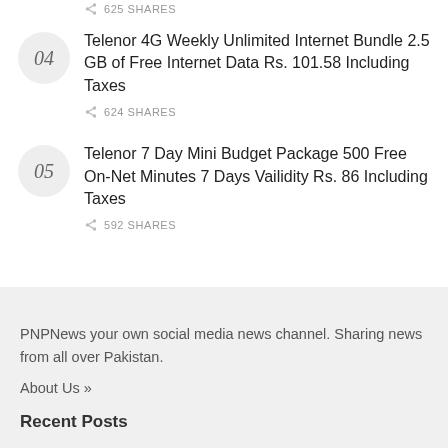625 SHARES
Telenor 4G Weekly Unlimited Internet Bundle 2.5 GB of Free Internet Data Rs. 101.58 Including Taxes
624 SHARES
Telenor 7 Day Mini Budget Package 500 Free On-Net Minutes 7 Days Vailidity Rs. 86 Including Taxes
592 SHARES
PNPNews your own social media news channel. Sharing news from all over Pakistan.
About Us »
Recent Posts